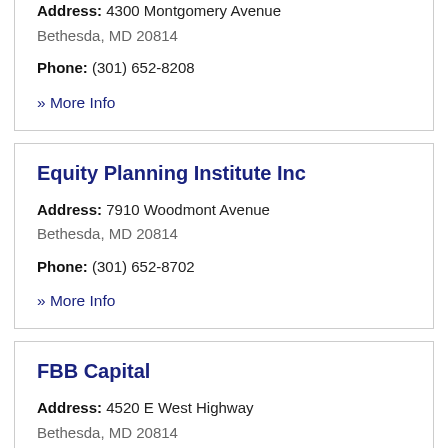Address: 4300 Montgomery Avenue Bethesda, MD 20814
Phone: (301) 652-8208
» More Info
Equity Planning Institute Inc
Address: 7910 Woodmont Avenue Bethesda, MD 20814
Phone: (301) 652-8702
» More Info
FBB Capital
Address: 4520 E West Highway Bethesda, MD 20814